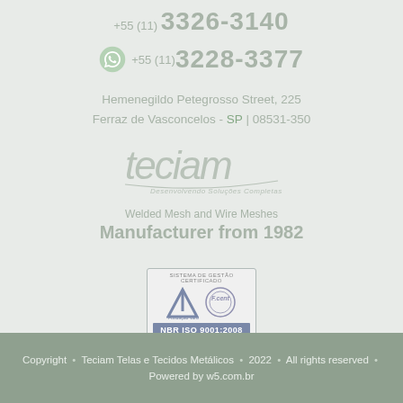+55 (11) 3326-3140
+55 (11) 3228-3377
Hemenegildo Petegrosso Street, 225
Ferraz de Vasconcelos - SP | 08531-350
[Figure (logo): Teciam company logo with tagline 'Desenvolvendo Soluções Completas']
Welded Mesh and Wire Meshes
Manufacturer from 1982
[Figure (logo): NBR ISO 9001:2008 certification badge with Fundação Vanzolini and F.cent logos, Sistema de Gestão Certificado]
Copyright • Teciam Telas e Tecidos Metálicos • 2022 • All rights reserved • Powered by w5.com.br